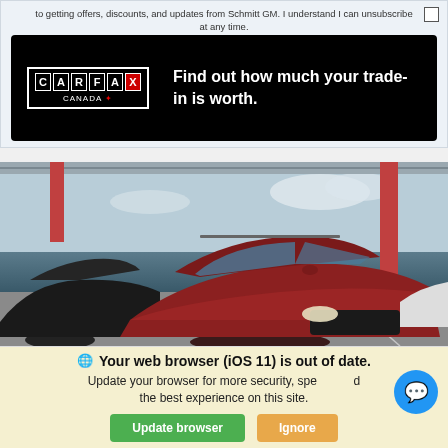to getting offers, discounts, and updates from Schmitt GM. I understand I can unsubscribe at any time.
[Figure (infographic): CARFAX Canada banner on black background with logo and text: Find out how much your trade-in is worth.]
[Figure (photo): Photo of cars in a dealership lot, featuring a red/maroon SUV in the foreground, black car to the left, under a covered parking structure.]
Your web browser (iOS 11) is out of date. Update your browser for more security, speed and the best experience on this site.
Update browser
Ignore